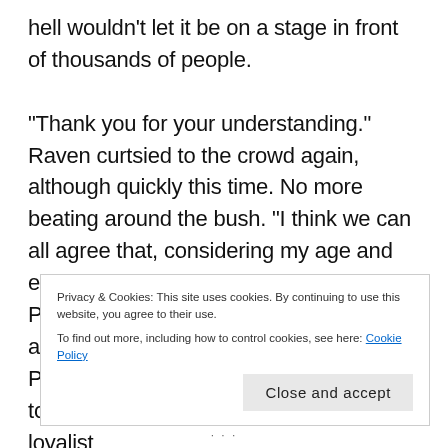hell wouldn't let it be on a stage in front of thousands of people.
“Thank you for your understanding.” Raven curtsied to the crowd again, although quickly this time. No more beating around the bush. “I think we can all agree that, considering my age and experience, I am currently unfit to rule a Prefecture. As such, a warden has been appointed to administer the Nightingale Prefecture for now. Let me introduce you to Warden Bill, a long time Nightingale loyalist
Privacy & Cookies: This site uses cookies. By continuing to use this website, you agree to their use.
To find out more, including how to control cookies, see here: Cookie Policy
Close and accept